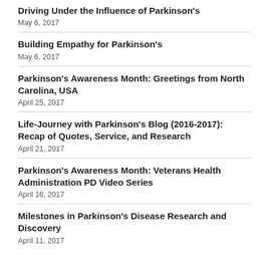Driving Under the Influence of Parkinson's
May 6, 2017
Building Empathy for Parkinson's
May 6, 2017
Parkinson's Awareness Month: Greetings from North Carolina, USA
April 25, 2017
Life-Journey with Parkinson's Blog (2016-2017): Recap of Quotes, Service, and Research
April 21, 2017
Parkinson's Awareness Month: Veterans Health Administration PD Video Series
April 16, 2017
Milestones in Parkinson's Disease Research and Discovery
April 11, 2017